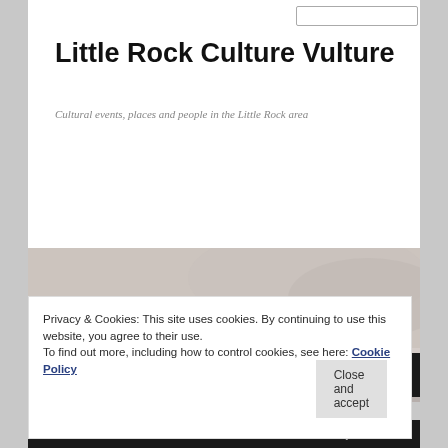Little Rock Culture Vulture
Cultural events, places and people in the Little Rock area
[Figure (photo): Black and white photograph of the facade of a classical building with engraved text reading 'Seth Taylor Robinson Memorial Auditorium', featuring stone columns and architectural cornice details shot from a low angle]
Home   About the Little Rock Culture Vulture
Privacy & Cookies: This site uses cookies. By continuing to use this website, you agree to their use.
To find out more, including how to control cookies, see here: Cookie Policy
Close and accept
Shows Seen   Theatre Reviews   Tony Awards